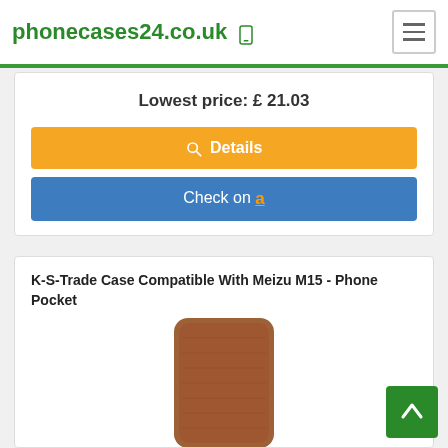phonecases24.co.uk
Lowest price: £ 21.03
Details
Check on Amazon
K-S-Trade Case Compatible With Meizu M15 - Phone Pocket
[Figure (photo): Product photo of a brown leather phone pocket/sleeve case for Meizu M15, shown from multiple angles — front view of the case and two smaller detail views at the bottom]